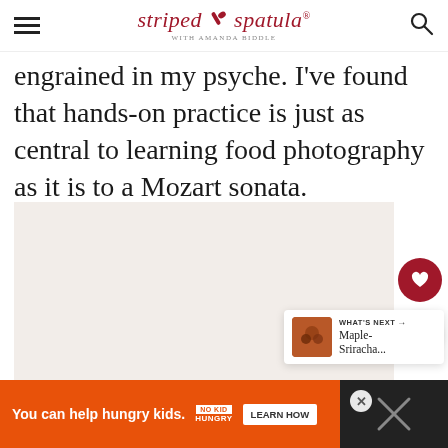striped spatula with Amanda Biddle
engrained in my psyche. I’ve found that hands-on practice is just as central to learning food photography as it is to a Mozart sonata.
[Figure (photo): Large image placeholder area, light beige/cream background]
WHAT’S NEXT → Maple-Sriracha...
You can help hungry kids. NO KID HUNGRY LEARN HOW